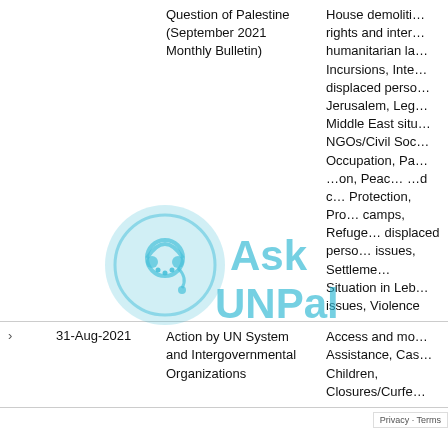|  | Date | Title | Topics |
| --- | --- | --- | --- |
|  |  | Question of Palestine (September 2021 Monthly Bulletin) | House demolitions, rights and international humanitarian law, Incursions, Internally displaced persons, Jerusalem, Legal issues, Middle East situation, NGOs/Civil Society, Occupation, Palestinian population, Peace process, Humanitarian and Child Protection, Protection, Refugee camps, Refugees and displaced persons, Settlement issues, Situation in Lebanon, Water issues, Violence |
| > | 31-Aug-2021 | Action by UN System and Intergovernmental Organizations | Access and movement, Assistance, Casualties, Children, Closures/Curfews |